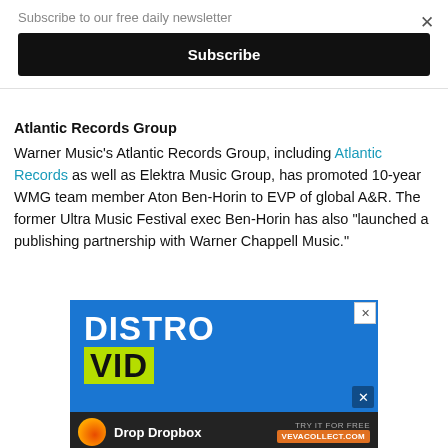Subscribe to our free daily newsletter
Subscribe
Atlantic Records Group
Warner Music's Atlantic Records Group, including Atlantic Records as well as Elektra Music Group, has promoted 10-year WMG team member Aton Ben-Horin to EVP of global A&R. The former Ultra Music Festival exec Ben-Horin has also "launched a publishing partnership with Warner Chappell Music."
[Figure (screenshot): Advertisement banner for DistroVid showing blue background with DISTRO in white bold text and VID in yellow-green highlight. Bottom bar shows 'Drop Dropbox' with fire icon and 'TRY IT FOR FREE VEVACOLLECT.COM' button.]